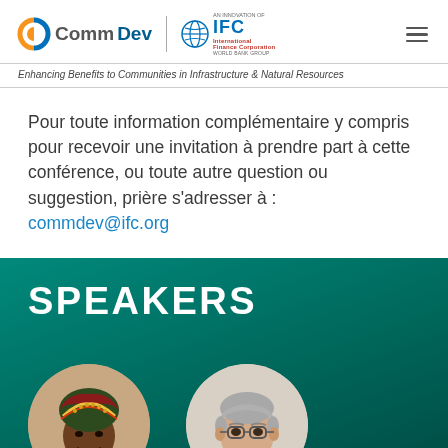CommDev | IFC International Finance Corporation WORLD BANK GROUP
Enhancing Benefits to Communities in Infrastructure & Natural Resources
Pour toute information complémentaire y compris pour recevoir une invitation à prendre part à cette conférence, ou toute autre question ou suggestion, prière s'adresser à : commdev@ifc.org
SPEAKERS
[Figure (photo): Circular portrait photo of a woman wearing a colorful headwrap, smiling, with a warm beige background]
[Figure (photo): Circular portrait photo of a middle-aged man with glasses and grey hair, wearing a light-colored shirt, with a light background]